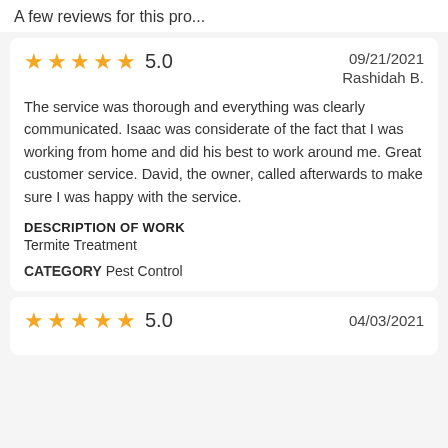A few reviews for this pro...
★★★★★ 5.0    09/21/2021
Rashidah B.

The service was thorough and everything was clearly communicated. Isaac was considerate of the fact that I was working from home and did his best to work around me. Great customer service. David, the owner, called afterwards to make sure I was happy with the service.
DESCRIPTION OF WORK
Termite Treatment
CATEGORY Pest Control
★★★★★ 5.0    04/03/2021